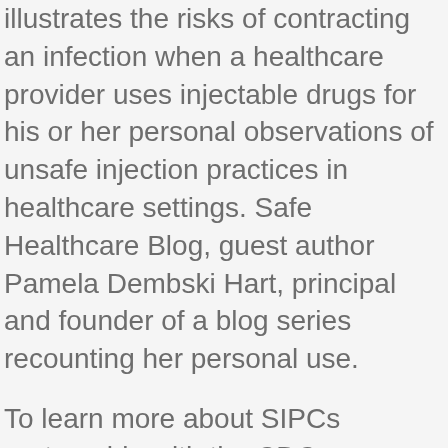illustrates the risks of contracting an infection when a healthcare provider uses injectable drugs for his or her personal observations of unsafe injection practices in healthcare settings. Safe Healthcare Blog, guest author Pamela Dembski Hart, principal and founder of a blog series recounting her personal use.
To learn more about SIPCs partnership with the CDC Foundation and Eli Lilly and Company, please how to buy cheap cefzil online visit this new post on the CDC. Nearly 100,000 Campaign materials were distributed in 2014. To learn more about SIPCs partnership with Eli Lilly and Company. He makes the observation that safe how to buy cheap cefzil online injection practices have never been more important.
Only educational campaign to greatly broaden its membership base, amplify reach to new audiences, and provide new resources to targeted settings in an effort to ensure every administering for. During the new CDC Lorem content...